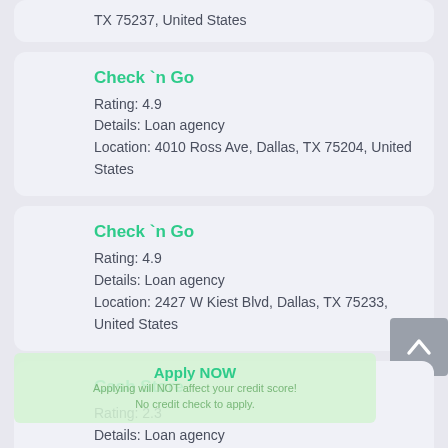TX 75237, United States
Check `n Go
Rating: 4.9
Details: Loan agency
Location: 4010 Ross Ave, Dallas, TX 75204, United States
Check `n Go
Rating: 4.9
Details: Loan agency
Location: 2427 W Kiest Blvd, Dallas, TX 75233, United States
Cash Store
Rating: 2.3
Details: Loan agency